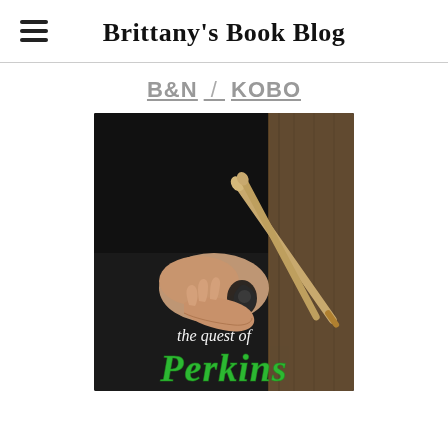Brittany's Book Blog
B&N / KOBO
[Figure (photo): Book cover of 'The Quest of Perkins' showing a tattooed hand holding drumsticks against a dark background, with green stylized text at bottom reading 'the quest of Perkins']